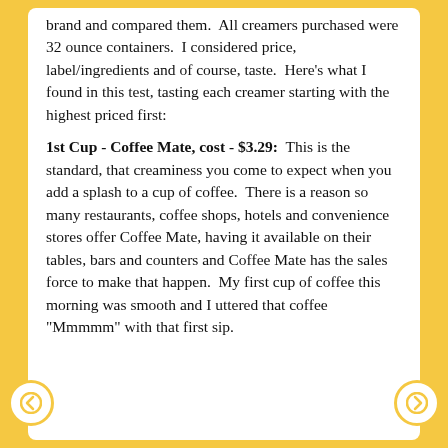brand and compared them.  All creamers purchased were 32 ounce containers.  I considered price, label/ingredients and of course, taste.  Here's what I found in this test, tasting each creamer starting with the highest priced first:
1st Cup - Coffee Mate, cost - $3.29: This is the standard, that creaminess you come to expect when you add a splash to a cup of coffee.  There is a reason so many restaurants, coffee shops, hotels and convenience stores offer Coffee Mate, having it available on their tables, bars and counters and Coffee Mate has the sales force to make that happen.  My first cup of coffee this morning was smooth and I uttered that coffee "Mmmmm" with that first sip.